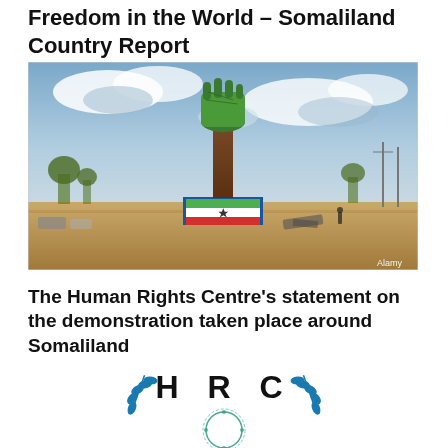Freedom in the World – Somaliland Country Report
[Figure (photo): Outdoor monument showing a raised fist holding a green map shape, with a Somaliland flag on the base, photographed at dusk with a cloudy sky. Credit: Alamy.]
The Human Rights Centre's statement on the demonstration taken place around Somaliland
[Figure (logo): HRC (Human Rights Centre) logo with large bold letters H R C and a circular emblem with laurel branches in blue and teal.]